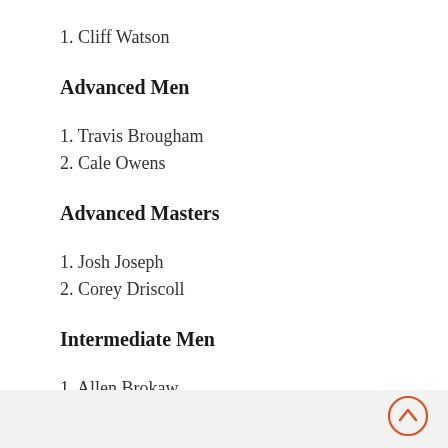1. Cliff Watson
Advanced Men
1. Travis Brougham
2. Cale Owens
Advanced Masters
1. Josh Joseph
2. Corey Driscoll
Intermediate Men
1. Allen Brokaw
2. Wally Parsinitz